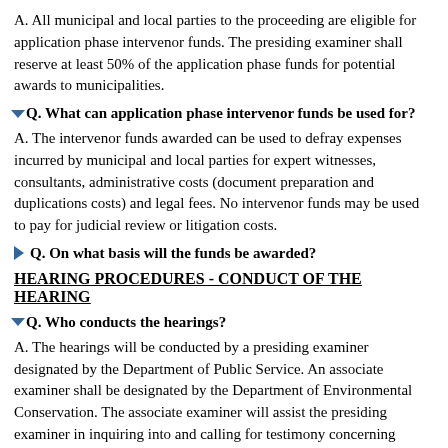A. All municipal and local parties to the proceeding are eligible for application phase intervenor funds. The presiding examiner shall reserve at least 50% of the application phase funds for potential awards to municipalities.
Q. What can application phase intervenor funds be used for?
A. The intervenor funds awarded can be used to defray expenses incurred by municipal and local parties for expert witnesses, consultants, administrative costs (document preparation and duplications costs) and legal fees. No intervenor funds may be used to pay for judicial review or litigation costs.
Q. On what basis will the funds be awarded?
HEARING PROCEDURES - CONDUCT OF THE HEARING
Q. Who conducts the hearings?
A. The hearings will be conducted by a presiding examiner designated by the Department of Public Service. An associate examiner shall be designated by the Department of Environmental Conservation. The associate examiner will assist the presiding examiner in inquiring into and calling for testimony concerning